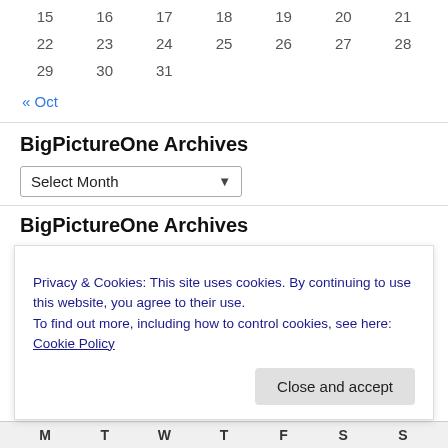| 15 | 16 | 17 | 18 | 19 | 20 | 21 |
| 22 | 23 | 24 | 25 | 26 | 27 | 28 |
| 29 | 30 | 31 |  |  |  |  |
« Oct
BigPictureOne Archives
Select Month
BigPictureOne Archives
Privacy & Cookies: This site uses cookies. By continuing to use this website, you agree to their use.
To find out more, including how to control cookies, see here: Cookie Policy
Close and accept
| M | T | W | T | F | S | S |
| --- | --- | --- | --- | --- | --- | --- |